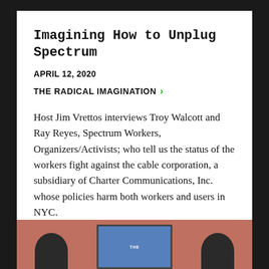Imagining How to Unplug Spectrum
APRIL 12, 2020
THE RADICAL IMAGINATION >
Host Jim Vrettos interviews Troy Walcott and Ray Reyes, Spectrum Workers, Organizers/Activists; who tell us the status of the workers fight against the cable corporation, a subsidiary of Charter Communications, Inc. whose policies harm both workers and users in NYC.
[Figure (photo): Bottom strip showing two people seated with a TV screen displaying text between them, against a reddish-pink background.]